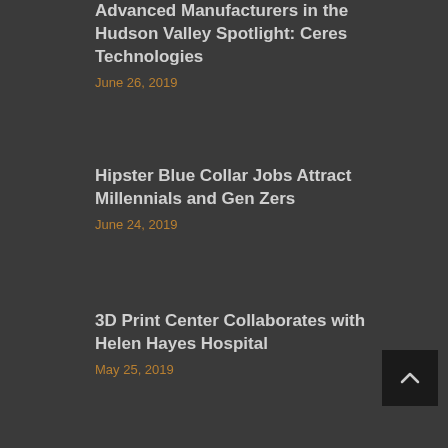Advanced Manufacturers in the Hudson Valley Spotlight: Ceres Technologies
June 26, 2019
Hipster Blue Collar Jobs Attract Millennials and Gen Zers
June 24, 2019
3D Print Center Collaborates with Helen Hayes Hospital
May 25, 2019